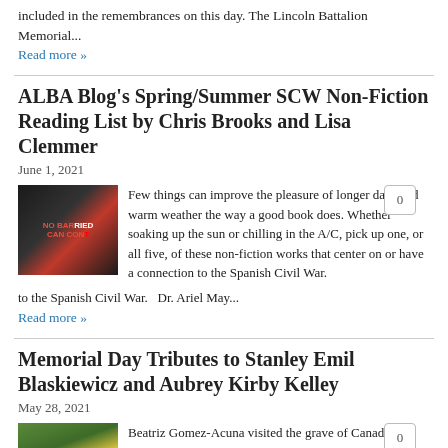included in the remembrances on this day. The Lincoln Battalion Memorial...
Read more »
ALBA Blog's Spring/Summer SCW Non-Fiction Reading List by Chris Brooks and Lisa Clemmer
June 1, 2021
[Figure (photo): Book cover for 'No Barriers' with dark background]
Few things can improve the pleasure of longer days and warm weather the way a good book does. Whether soaking up the sun or chilling in the A/C, pick up one, or all five, of these non-fiction works that center on or have a connection to the Spanish Civil War.   Dr. Ariel May...
Read more »
Memorial Day Tributes to Stanley Emil Blaskiewicz and Aubrey Kirby Kelley
May 28, 2021
[Figure (photo): Grave with flowers and a Republican flag]
Beatriz Gomez-Acuna visited the grave of Canadian-American Stanley Emil Blaskiewicz (who post-war changed his name to Blake) in Chicago. Joe Roth visited Aubrey Kirby Kelley's grave in Ryan, Texas and placed a Republican flag. Thank you both for taking the time to honor these American Volunteers. For those who may be interested in